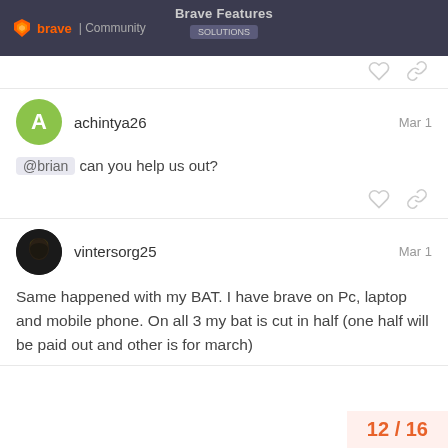brave | Community — Brave Features
@brian can you help us out?
Same happened with my BAT. I have brave on Pc, laptop and mobile phone. On all 3 my bat is cut in half (one half will be paid out and other is for march)
12 / 16